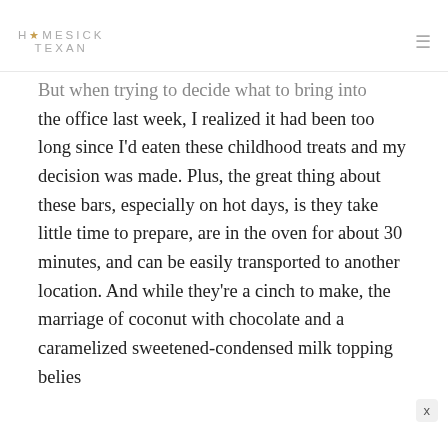HOMESICK TEXAN
But when trying to decide what to bring into the office last week, I realized it had been too long since I’d eaten these childhood treats and my decision was made. Plus, the great thing about these bars, especially on hot days, is they take little time to prepare, are in the oven for about 30 minutes, and can be easily transported to another location. And while they’re a cinch to make, the marriage of coconut with chocolate and a caramelized sweetened-condensed milk topping belies